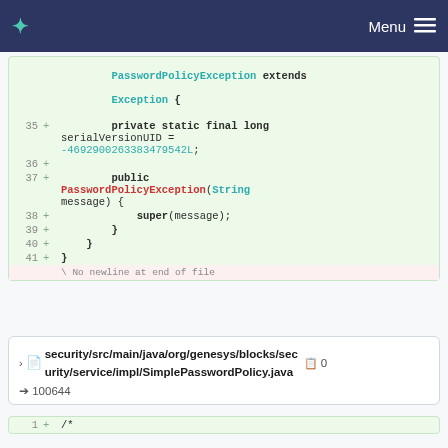Menu
[Figure (screenshot): Code diff showing Java class PasswordPolicyException extending Exception with lines 35-41, including serialVersionUID field and constructor]
security/src/main/java/org/genesys/blocks/security/service/impl/SimplePasswordPolicy.java  0
→ 100644
[Figure (screenshot): Code diff bottom preview showing line 1 with + /*]